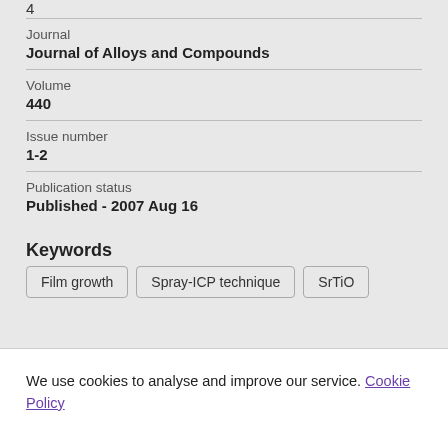4
Journal
Journal of Alloys and Compounds
Volume
440
Issue number
1-2
Publication status
Published - 2007 Aug 16
Keywords
Film growth
Spray-ICP technique
SrTiO
We use cookies to analyse and improve our service. Cookie Policy